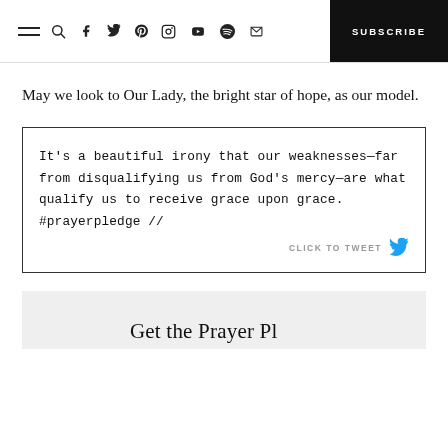≡ 🔍 f 𝕏 p ⊙ ▶ ♫ ✉  SUBSCRIBE
May we look to Our Lady, the bright star of hope, as our model.
It's a beautiful irony that our weaknesses—far from disqualifying us from God's mercy—are what qualify us to receive grace upon grace. #prayerpledge //
CLICK TO TWEET